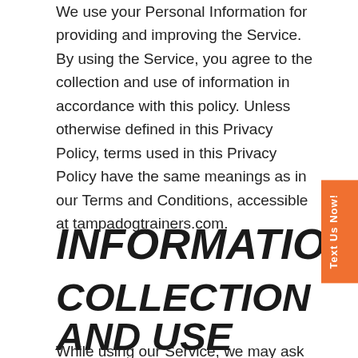We use your Personal Information for providing and improving the Service. By using the Service, you agree to the collection and use of information in accordance with this policy. Unless otherwise defined in this Privacy Policy, terms used in this Privacy Policy have the same meanings as in our Terms and Conditions, accessible at tampadogtrainers.com.
INFORMATION COLLECTION AND USE
While using our Service, we may ask you to